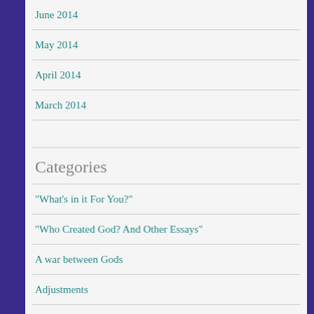June 2014
May 2014
April 2014
March 2014
Categories
"What's in it For You?"
"Who Created God? And Other Essays"
A war between Gods
Adjustments